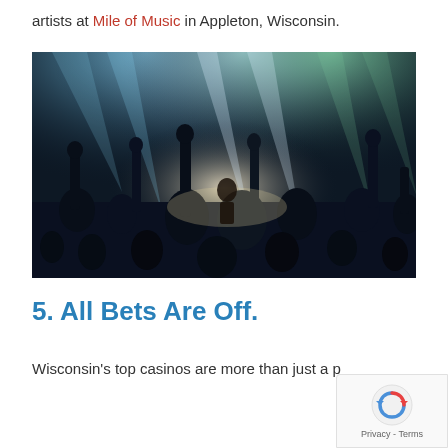artists at Mile of Music in Appleton, Wisconsin.
[Figure (photo): Concert crowd photo with silhouetted hands raised against stage lighting in blue and green tones, with a performer visible on stage in the background.]
5. All Bets Are Off.
Wisconsin's top casinos are more than just a p